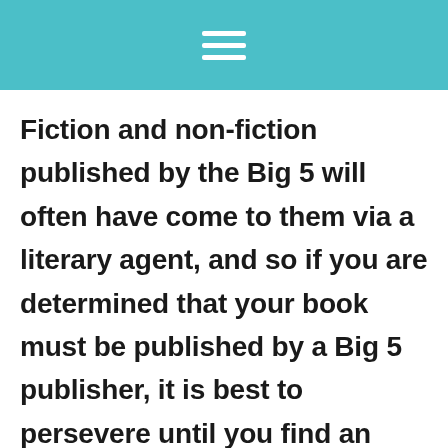☰
Fiction and non-fiction published by the Big 5 will often have come to them via a literary agent, and so if you are determined that your book must be published by a Big 5 publisher, it is best to persevere until you find an agent who will submit your work to them. Some of the Big 5 now have small, often digital-first, imprints that will accept unsolicited submissions, so these may be a possibility if you are struggling to find an agent, though bear in mind competition will be fierce and it may be difficult to be picked